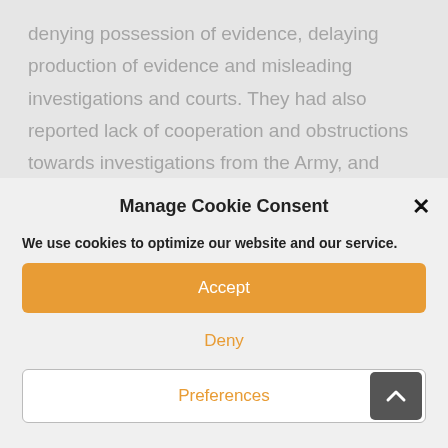denying possession of evidence, delaying production of evidence and misleading investigations and courts. They had also reported lack of cooperation and obstructions towards investigations from the Army, and intimidation towards witnesses. A key witness, who had seen and
Manage Cookie Consent
We use cookies to optimize our website and our service.
Accept
Deny
Preferences